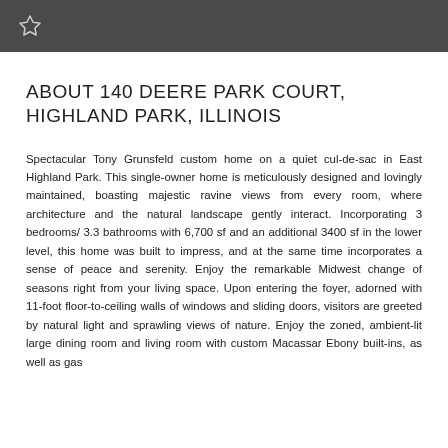★
ABOUT 140 DEERE PARK COURT, HIGHLAND PARK, ILLINOIS
Spectacular Tony Grunsfeld custom home on a quiet cul-de-sac in East Highland Park. This single-owner home is meticulously designed and lovingly maintained, boasting majestic ravine views from every room, where architecture and the natural landscape gently interact. Incorporating 3 bedrooms/ 3.3 bathrooms with 6,700 sf and an additional 3400 sf in the lower level, this home was built to impress, and at the same time incorporates a sense of peace and serenity. Enjoy the remarkable Midwest change of seasons right from your living space. Upon entering the foyer, adorned with 11-foot floor-to-ceiling walls of windows and sliding doors, visitors are greeted by natural light and sprawling views of nature. Enjoy the zoned, ambient-lit large dining room and living room with custom Macassar Ebony built-ins, as well as gas